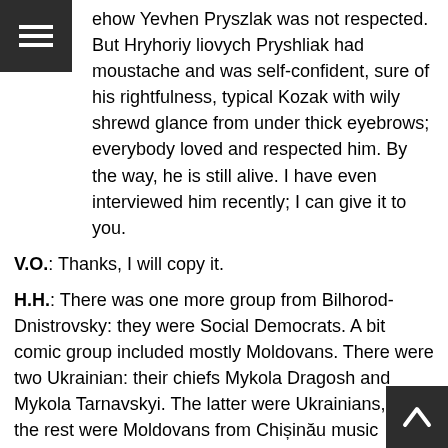ehow Yevhen Pryszlak was not respected. But Hryhoriy liovych Pryshliak had moustache and was self-confident, sure of his rightfulness, typical Kozak with wily shrewd glance from under thick eyebrows; everybody loved and respected him. By the way, he is still alive. I have even interviewed him recently; I can give it to you.
V.O.: Thanks, I will copy it.
H.H.: There was one more group from Bilhorod-Dnistrovsky: they were Social Democrats. A bit comic group included mostly Moldovans. There were two Ukrainian: their chiefs Mykola Dragosh and Mykola Tarnavskyi. The latter were Ukrainians, and the rest were Moldovans from Chișinău music school. They established a printing office in Bilhorod-Dnistrovsky. Dragosh was a teacher or school principal of the working youth and his friend Mykola Tarnavskyi worked in the printing office. There he stole types and afterwards they illegally printed leaflets and to confuse the KGB authorities they decided to send these leaflets to all official authorities: editorial offices, Soviet and party organs do...